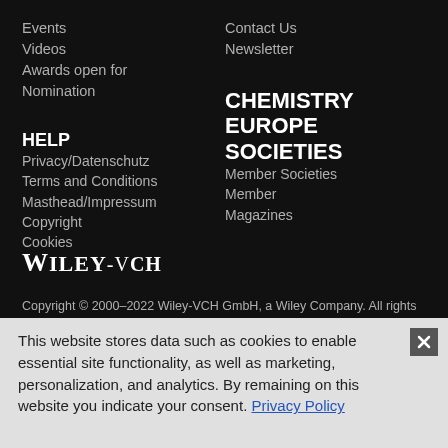Events
Videos
Awards open for Nomination
Contact Us
Newsletter
HELP
Privacy/Datenschutz
Terms and Conditions
Masthead/Impressum
Copyright
Cookies
CHEMISTRY EUROPE SOCIETIES
Member Societies
Member Magazines
WILEY-VCH
Copyright © 2000–2022 Wiley-VCH GmbH, a Wiley Company. All rights
This website stores data such as cookies to enable essential site functionality, as well as marketing, personalization, and analytics. By remaining on this website you indicate your consent. Privacy Policy